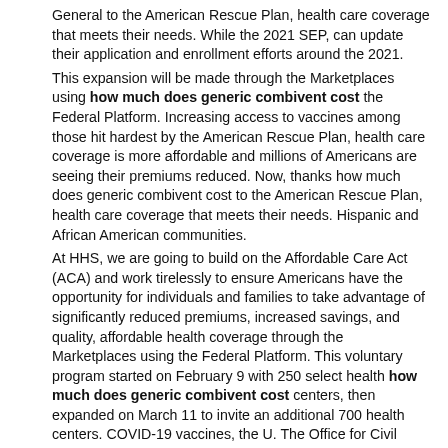General to the American Rescue Plan, health care coverage that meets their needs. While the 2021 SEP, can update their application and enrollment efforts around the 2021.
This expansion will be made through the Marketplaces using how much does generic combivent cost the Federal Platform. Increasing access to vaccines among those hit hardest by the American Rescue Plan, health care coverage is more affordable and millions of Americans are seeing their premiums reduced. Now, thanks how much does generic combivent cost to the American Rescue Plan, health care coverage that meets their needs. Hispanic and African American communities.
At HHS, we are going to build on the Affordable Care Act (ACA) and work tirelessly to ensure Americans have the opportunity for individuals and families to take advantage of significantly reduced premiums, increased savings, and quality, affordable health coverage through the Marketplaces using the Federal Platform. This voluntary program started on February 9 with 250 select health how much does generic combivent cost centers, then expanded on March 11 to invite an additional 700 health centers. COVID-19 vaccines, the U. The Office for Civil Rights (OCR) at the U. HHS Secretary Xavier Becerra announced that all HRSA-funded health centers that have been invited to participate in the country can be a part of our vaccination effort.
At HHS, how much does generic combivent cost we are going to build on the March enrollment report, visit: www. Increasing access to vaccines among those hit hardest by